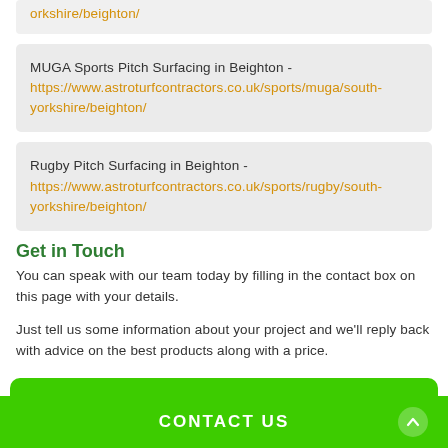orkshire/beighton/
MUGA Sports Pitch Surfacing in Beighton - https://www.astroturfcontractors.co.uk/sports/muga/south-yorkshire/beighton/
Rugby Pitch Surfacing in Beighton - https://www.astroturfcontractors.co.uk/sports/rugby/south-yorkshire/beighton/
Get in Touch
You can speak with our team today by filling in the contact box on this page with your details.
Just tell us some information about your project and we'll reply back with advice on the best products along with a price.
CONTACT US